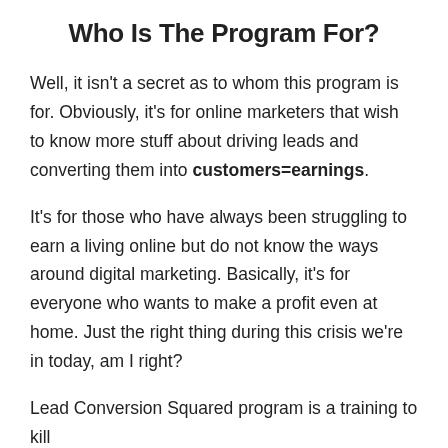Who Is The Program For?
Well, it isn't a secret as to whom this program is for. Obviously, it's for online marketers that wish to know more stuff about driving leads and converting them into customers=earnings.
It's for those who have always been struggling to earn a living online but do not know the ways around digital marketing. Basically, it's for everyone who wants to make a profit even at home. Just the right thing during this crisis we're in today, am I right?
Lead Conversion Squared program is a training to kill